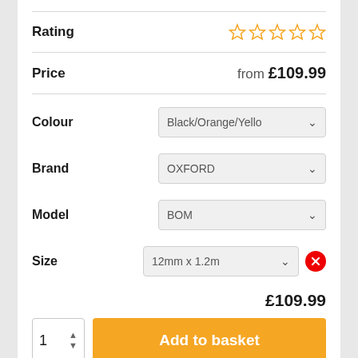Rating — 0 out of 5 stars
Price — from £109.99
Colour — Black/Orange/Yello (dropdown)
Brand — OXFORD (dropdown)
Model — BOM (dropdown)
Size — 12mm x 1.2m (dropdown) with remove button
£109.99
Quantity: 1 — Add to basket